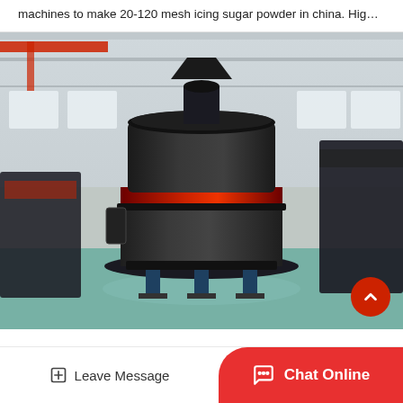machines to make 20-120 mesh icing sugar powder in china. Hig…
[Figure (photo): Industrial grinding mill machine (Raymond mill) in a factory/warehouse setting. Large dark cylindrical machine with red belt and blue legs, surrounded by other heavy industrial equipment on a teal-colored factory floor.]
Leave Message
Chat Online